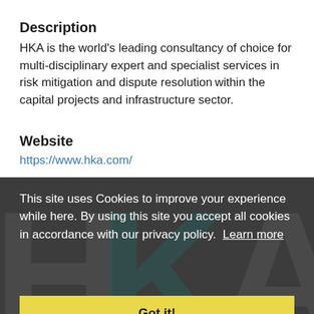Description
HKA is the world’s leading consultancy of choice for multi-disciplinary expert and specialist services in risk mitigation and dispute resolution​within the capital projects and infrastructure sector.
Website
https://www.hka.com/
[Figure (screenshot): Dark background cookie consent banner with HKA logo watermark. Text reads: 'This site uses Cookies to improve your experience while here. By using this site you accept all cookies in accordance with our privacy policy. Learn more'. Yellow 'Got it!' button at bottom.]